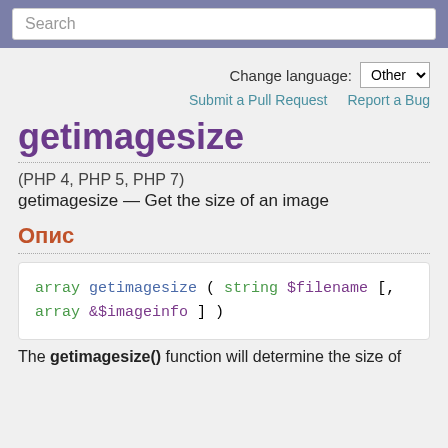Search
Change language: Other
Submit a Pull Request   Report a Bug
getimagesize
(PHP 4, PHP 5, PHP 7)
getimagesize — Get the size of an image
Опис
array getimagesize ( string $filename [, array &$imageinfo ] )
The getimagesize() function will determine the size of